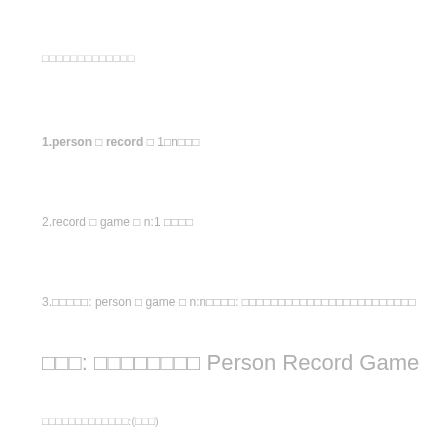□□□□□□□□□□□□□
1.person □ record □ 1□n□□□
2.record □ game □ n:1 □□□□
3.□□□□□: person □ game □ n:n□□□□: □□□□□□□□□□□□□□□□□□□□□□□□
□□□: □□□□□□□□ Person Record Game
□□□□□□□□□□□□□:(□□□)